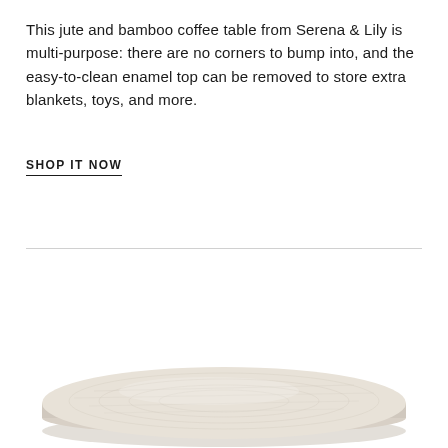This jute and bamboo coffee table from Serena & Lily is multi-purpose: there are no corners to bump into, and the easy-to-clean enamel top can be removed to store extra blankets, toys, and more.
SHOP IT NOW
[Figure (photo): A round/oval coffee table with a light wood-grain enamel top, viewed from a slightly elevated angle, showing the tabletop surface with subtle wood grain lines.]